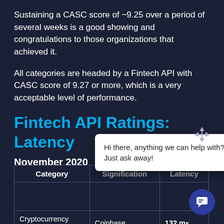Sustaining a CASC score of ~9.25 over a period of several weeks is a good showing and congratulations to those organizations that achieved it.
All categories are headed by a Fintech API with CASC score of 9.27 or more, which is a very acceptable level of performance.
Fintech API Ratings: Latency
November 2020
| Category | Signification | Latency |
| --- | --- | --- |
| Cryptocurrency Exchanges | Coinbase | 132 ms |